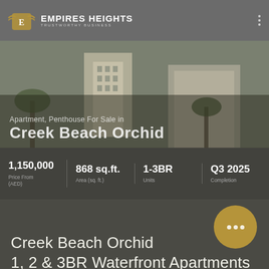EMPIRES HEIGHTS — TRUSTWORTHY BUSINESS
[Figure (photo): Exterior photo of Creek Beach Orchid apartment building with palm trees]
Apartment, Penthouse For Sale in
Creek Beach Orchid
1,150,000 | Price From (AED)  868 sq.ft. | Area (sq. ft.)  1-3BR | Units  Q3 2025 | Completion
Creek Beach Orchid
1, 2 & 3BR Waterfront Apartments